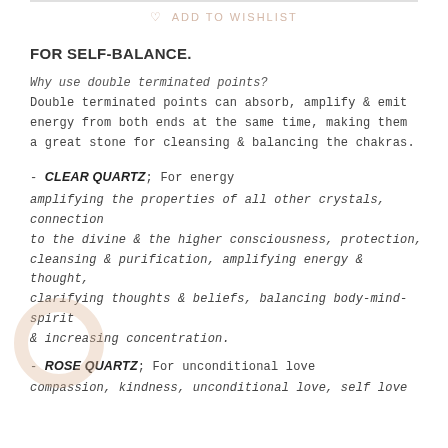ADD TO WISHLIST
FOR SELF-BALANCE.
Why use double terminated points?
Double terminated points can absorb, amplify & emit energy from both ends at the same time, making them a great stone for cleansing & balancing the chakras.
- CLEAR QUARTZ; For energy amplifying the properties of all other crystals, connection to the divine & the higher consciousness, protection, cleansing & purification, amplifying energy & thought, clarifying thoughts & beliefs, balancing body-mind-spirit & increasing concentration.
- ROSE QUARTZ; For unconditional love compassion, kindness, unconditional love, self love